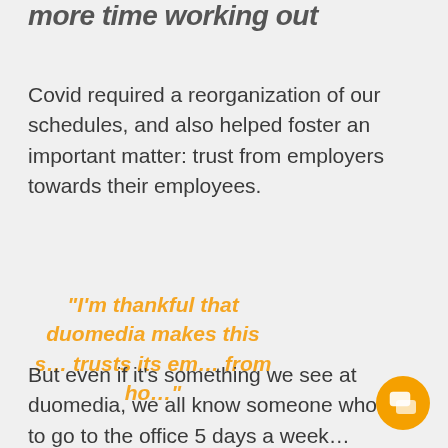more time working out
Covid required a reorganization of our schedules, and also helped foster an important matter: trust from employers towards their employees.
“I’m thankful that duomedia makes this s… trusts its em… from ho…” — …
[Figure (screenshot): Chat popup overlay with avatar, close button, and message: Got any questions? I’m happy to help.]
But even if it’s something we see at duomedia, we all know someone who had to go to the office 5 days a week…